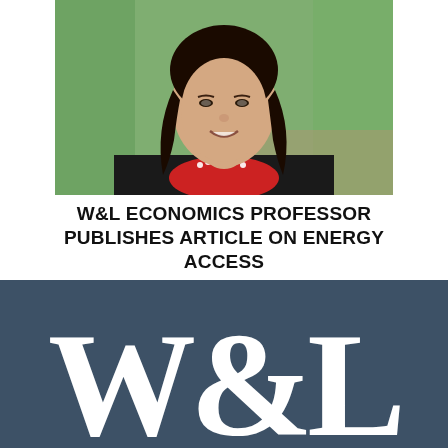[Figure (photo): Headshot of Alice Tianbo Zhang, an Asian woman with long dark hair, wearing a black blazer and red top with white dotted necklace, smiling outdoors with green trees in background.]
W&L ECONOMICS PROFESSOR PUBLISHES ARTICLE ON ENERGY ACCESS
Alice Tianbo Zhang's research on energy access was featured in the June 16 edition of Nature Energy
Read more stories »
[Figure (logo): Washington and Lee University W&L logo in white serif letters on dark slate blue background.]